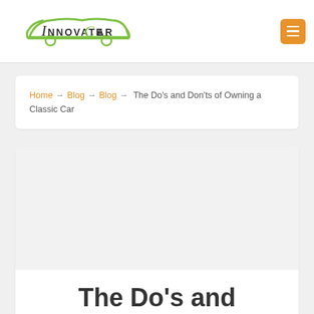Innovate Car
Home → Blog → Blog → The Do's and Don'ts of Owning a Classic Car
[Figure (illustration): Article image placeholder (light gray rectangle)]
The Do's and